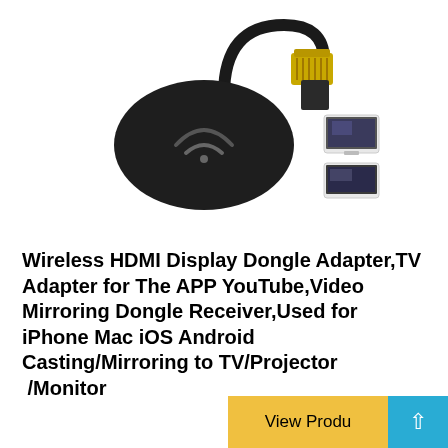[Figure (photo): Wireless HDMI display dongle adapter product photo showing a black oval-shaped dongle with WiFi symbol, a flat HDMI cable/connector attached, and two small inset images of a TV/monitor screen]
Wireless HDMI Display Dongle Adapter,TV Adapter for The APP YouTube,Video Mirroring Dongle Receiver,Used for iPhone Mac iOS Android Casting/Mirroring to TV/Projector /Monitor
View Produ